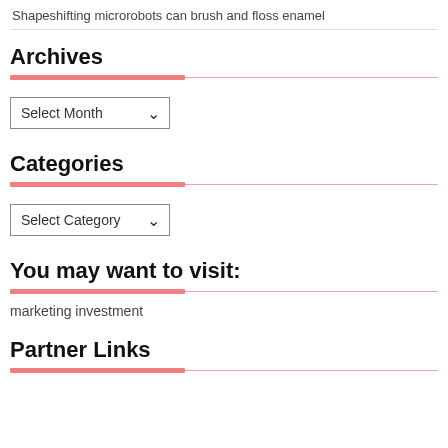Shapeshifting microrobots can brush and floss enamel
Archives
[Figure (other): Dropdown selector with label 'Select Month']
Categories
[Figure (other): Dropdown selector with label 'Select Category']
You may want to visit:
marketing investment
Partner Links